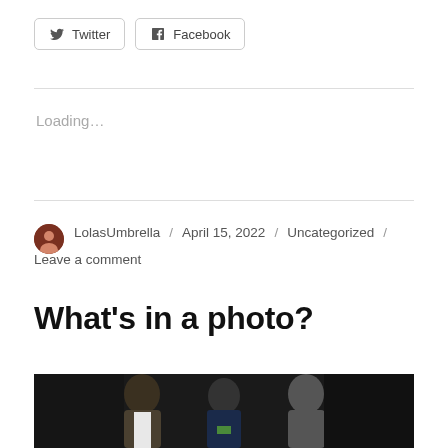Twitter  Facebook
Loading...
LolasUmbrella / April 15, 2022 / Uncategorized / Leave a comment
What's in a photo?
[Figure (photo): Three men standing together in front of a dark background, photographed at an event.]